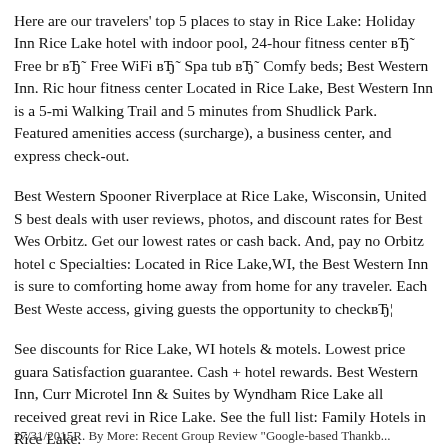Here are our travelers' top 5 places to stay in Rice Lake: Holiday Inn Rice Lake hotel with indoor pool, 24-hour fitness center вЂ˜ Free br вЂ˜ Free WiFi вЂ˜ Spa tub вЂ˜ Comfy beds; Best Western Inn. Rice hour fitness center Located in Rice Lake, Best Western Inn is a 5-mi Walking Trail and 5 minutes from Shudlick Park. Featured amenities access (surcharge), a business center, and express check-out.
Best Western Spooner Riverplace at Rice Lake, Wisconsin, United S best deals with user reviews, photos, and discount rates for Best Wes Orbitz. Get our lowest rates or cash back. And, pay no Orbitz hotel c Specialties: Located in Rice Lake,WI, the Best Western Inn is sure to comforting home away from home for any traveler. Each Best Weste access, giving guests the opportunity to checkвЂ¦
See discounts for Rice Lake, WI hotels & motels. Lowest price guara Satisfaction guarantee. Cash + hotel rewards. Best Western Inn, Curr Microtel Inn & Suites by Wyndham Rice Lake all received great revi in Rice Lake. See the full list: Family Hotels in Rice Lake.
27/31/2015R. By More: Recent Group Review "Google-based Thankb...